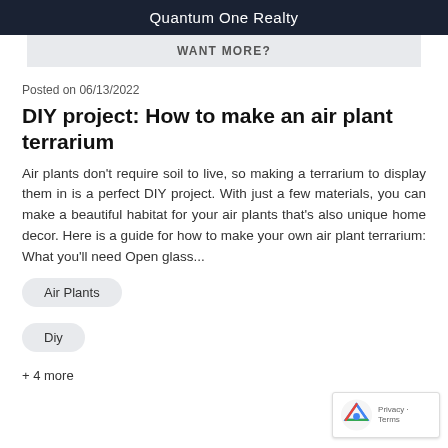Quantum One Realty
WANT MORE?
Posted on 06/13/2022
DIY project: How to make an air plant terrarium
Air plants don't require soil to live, so making a terrarium to display them in is a perfect DIY project. With just a few materials, you can make a beautiful habitat for your air plants that's also unique home decor. Here is a guide for how to make your own air plant terrarium: What you'll need Open glass...
Air Plants
Diy
+ 4 more